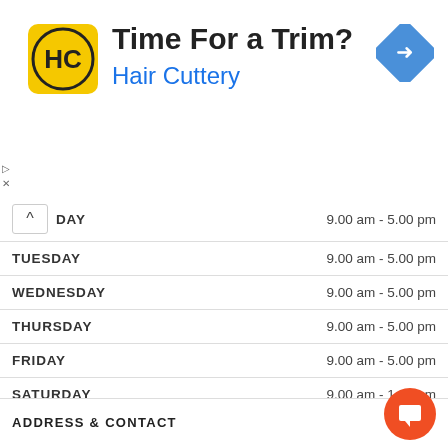[Figure (advertisement): Hair Cuttery ad banner with yellow HC logo, headline 'Time For a Trim?', subtitle 'Hair Cuttery', and a blue navigation arrow icon on the right.]
| DAY | HOURS |
| --- | --- |
| [MON]DAY | 9.00 am - 5.00 pm |
| TUESDAY | 9.00 am - 5.00 pm |
| WEDNESDAY | 9.00 am - 5.00 pm |
| THURSDAY | 9.00 am - 5.00 pm |
| FRIDAY | 9.00 am - 5.00 pm |
| SATURDAY | 9.00 am - 1.00 pm |
| SUNDAY | - |
ADDRESS & CONTACT